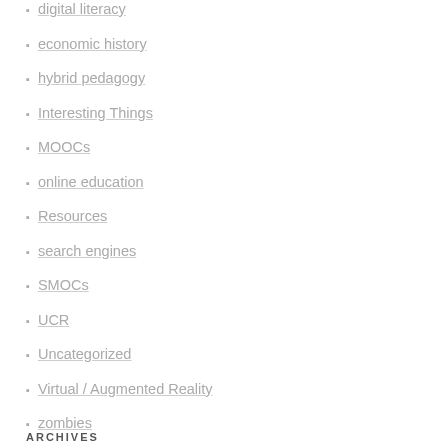digital literacy
economic history
hybrid pedagogy
Interesting Things
MOOCs
online education
Resources
search engines
SMOCs
UCR
Uncategorized
Virtual / Augmented Reality
zombies
ARCHIVES